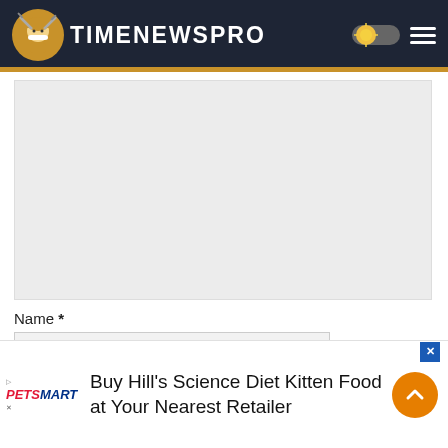TIMENEWSPRO
[Figure (other): Large grey advertisement placeholder box]
Name *
[Figure (other): Text input field with 'Advertisement' label inside]
[Figure (other): PetSmart advertisement banner: 'Buy Hill's Science Diet Kitten Food at Your Nearest Retailer']